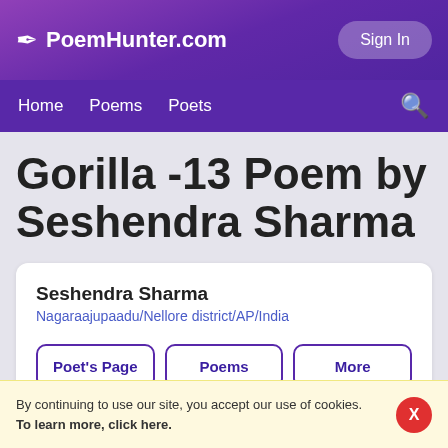PoemHunter.com
Home  Poems  Poets
Gorilla -13 Poem by Seshendra Sharma
Seshendra Sharma
Nagaraajupaadu/Nellore district/AP/India
Poet's Page  Poems  More
By continuing to use our site, you accept our use of cookies. To learn more, click here.